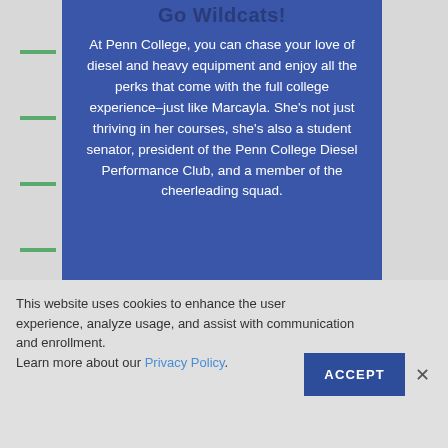Go Wildcats!
At Penn College, you can chase your love of diesel and heavy equipment and enjoy all the perks that come with the full college experience–just like Marcayla. She's not just thriving in her courses, she's also a student senator, president of the Penn College Diesel Performance Club, and a member of the cheerleading squad.
This website uses cookies to enhance the user experience, analyze usage, and assist with communication and enrollment. Learn more about our Privacy Policy.